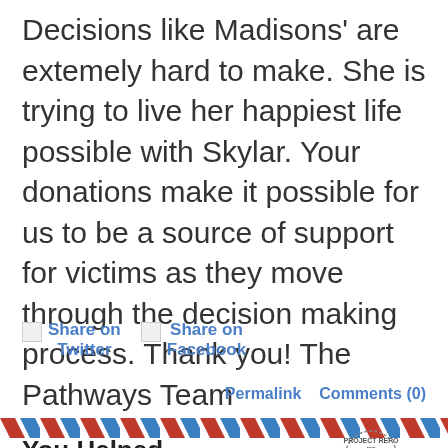Decisions like Madisons' are extemely hard to make. She is trying to live her happiest life possible with Skylar. Your donations make it possible for us to be a source of support for victims as they move through the decision making process. Thank you! The Pathways Team
[Figure (other): Share on Twitter icon link and Share on Facebook icon link, shown as broken image icons with bold blue text labels]
Permalink   Comments (0)
[Figure (other): Decorative diagonal stripe divider bar in red and blue]
You Helped Heather!
[Figure (other): PROJECT REPORT stamp dated Apr 11, 2022 with a water droplet logo]